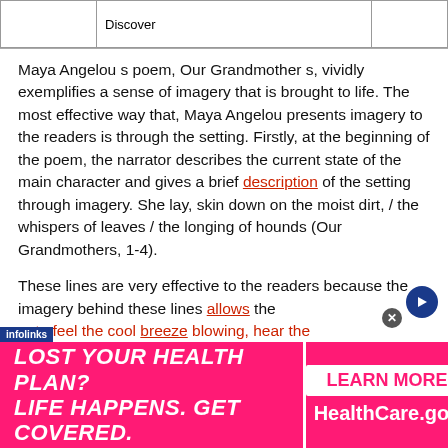|  | Discover |  |
| --- | --- | --- |
|  |  |  |
Maya Angelou s poem, Our Grandmother s, vividly exemplifies a sense of imagery that is brought to life. The most effective way that, Maya Angelou presents imagery to the readers is through the setting. Firstly, at the beginning of the poem, the narrator describes the current state of the main character and gives a brief description of the setting through imagery. She lay, skin down on the moist dirt, / the whispers of leaves / the longing of hounds (Our Grandmothers, 1-4).
These lines are very effective to the readers because the imagery behind these lines allows the rs to feel the cool breeze blowing, hear the
[Figure (infographic): Advertisement banner: 'LOST YOUR HEALTH PLAN? LIFE HAPPENS. GET COVERED.' with HealthCare.gov LEARN MORE button on right side, pink/magenta background]